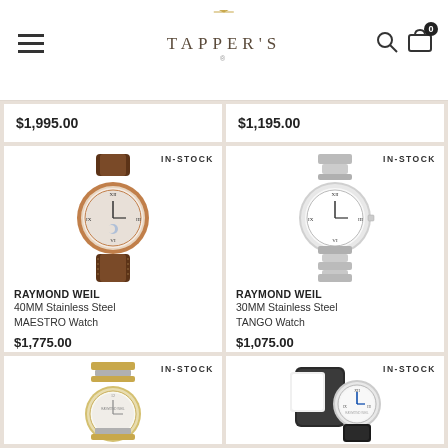TAPPER'S
$1,995.00 $1,195.00
[Figure (photo): Rose gold Raymond Weil Maestro watch with brown leather strap, moon phase complication, roman numerals on white dial]
IN-STOCK
RAYMOND WEIL 40MM Stainless Steel MAESTRO Watch
$1,775.00
[Figure (photo): Stainless steel Raymond Weil Tango watch with metal bracelet, white dial, roman numerals]
IN-STOCK
RAYMOND WEIL 30MM Stainless Steel TANGO Watch
$1,075.00
[Figure (photo): Two-tone gold and silver Raymond Weil watch with metal bracelet, partial view]
IN-STOCK
[Figure (photo): Raymond Weil watch with black strap and accessories, partial view]
IN-STOCK